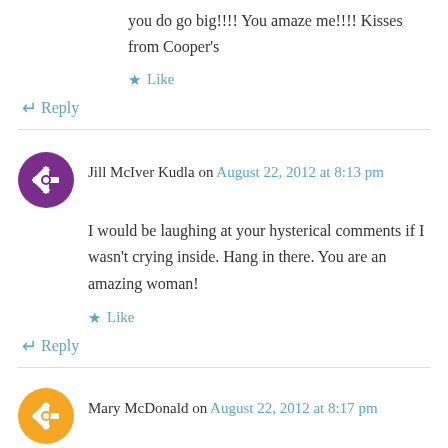you do go big!!!! You amaze me!!!! Kisses from Cooper's
★ Like
↳ Reply
Jill McIver Kudla on August 22, 2012 at 8:13 pm
I would be laughing at your hysterical comments if I wasn't crying inside. Hang in there. You are an amazing woman!
★ Like
↳ Reply
Mary McDonald on August 22, 2012 at 8:17 pm
Joselyn. Screaming is most definitely allowed